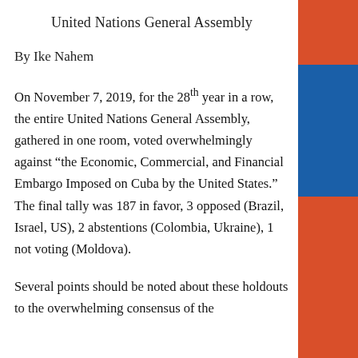United Nations General Assembly
By Ike Nahem
On November 7, 2019, for the 28th year in a row, the entire United Nations General Assembly, gathered in one room, voted overwhelmingly against “the Economic, Commercial, and Financial Embargo Imposed on Cuba by the United States.” The final tally was 187 in favor, 3 opposed (Brazil, Israel, US), 2 abstentions (Colombia, Ukraine), 1 not voting (Moldova).
Several points should be noted about these holdouts to the overwhelming consensus of the